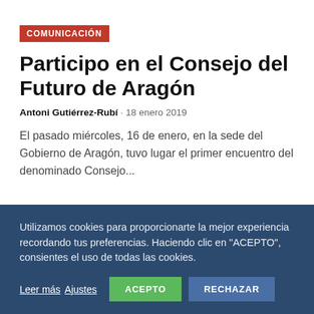COMUNICACIÓN
Participo en el Consejo del Futuro de Aragón
Antoni Gutiérrez-Rubí · 18 enero 2019
El pasado miércoles, 16 de enero, en la sede del Gobierno de Aragón, tuvo lugar el primer encuentro del denominado Consejo...
Utilizamos cookies para proporcionarte la mejor experiencia recordando tus preferencias. Haciendo clic en "ACEPTO", consientes el uso de todas las cookies.
Leer más  Ajustes    ACEPTO    RECHAZAR